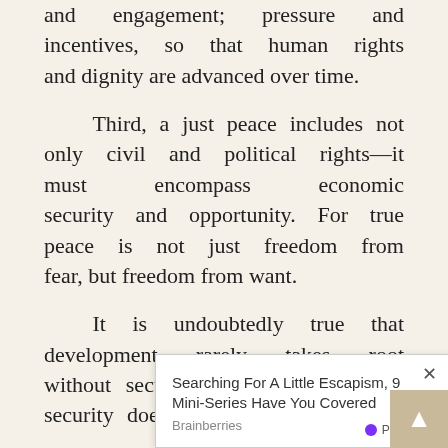and engagement; pressure and incentives, so that human rights and dignity are advanced over time.
Third, a just peace includes not only civil and political rights—it must encompass economic security and opportunity. For true peace is not just freedom from fear, but freedom from want.
It is undoubtedly true that development rarely takes root without security; it is also true that security does not exist where huma... to en... the r... It does not exist where children